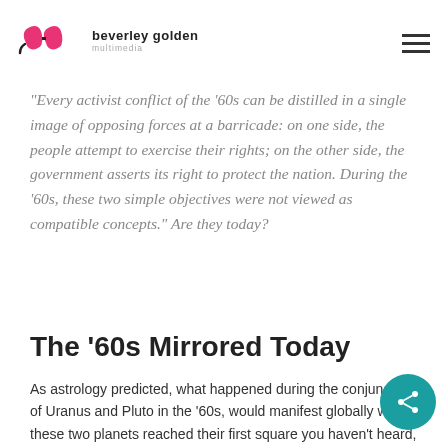beverley golden multimedia
“Every activist conflict of the ’60s can be distilled in a single image of opposing forces at a barricade: on one side, the people attempt to exercise their rights; on the other side, the government asserts its right to protect the nation. During the ’60s, these two simple objectives were not viewed as compatible concepts.” Are they today?
The ’60s Mirrored Today
As astrology predicted, what happened during the conjunction of Uranus and Pluto in the ’60s, would manifest globally when these two planets reached their first square you haven’t heard, we just came out of a three-year period (2012 to 2015) where we experienced seven exact squares of Uranus